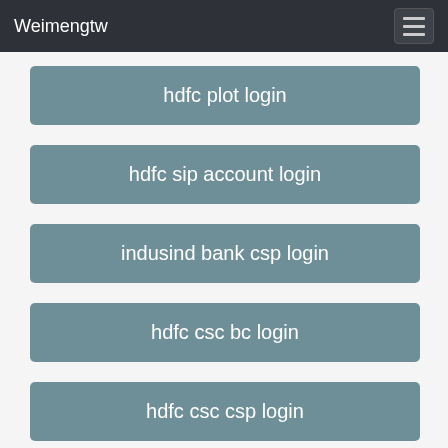Weimengtw
hdfc plot login
hdfc sip account login
indusind bank csp login
hdfc csc bc login
hdfc csc csp login